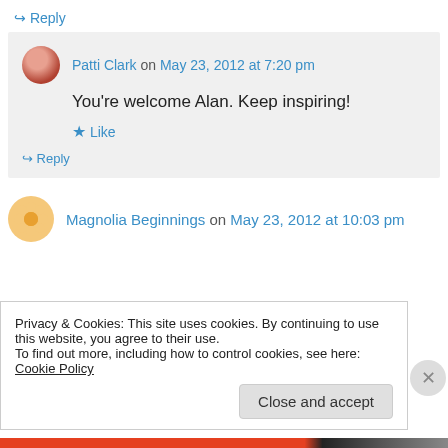↳ Reply
Patti Clark on May 23, 2012 at 7:20 pm
You're welcome Alan. Keep inspiring!
★ Like
↳ Reply
Magnolia Beginnings on May 23, 2012 at 10:03 pm
Privacy & Cookies: This site uses cookies. By continuing to use this website, you agree to their use. To find out more, including how to control cookies, see here: Cookie Policy
Close and accept